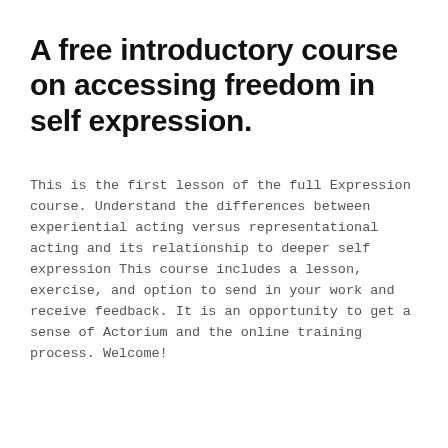A free introductory course on accessing freedom in self expression.
This is the first lesson of the full Expression course. Understand the differences between experiential acting versus representational acting and its relationship to deeper self expression This course includes a lesson, exercise, and option to send in your work and receive feedback. It is an opportunity to get a sense of Actorium and the online training process. Welcome!